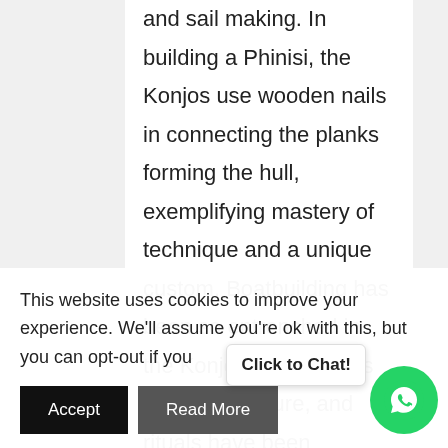and sail making. In building a Phinisi, the Konjos use wooden nails in connecting the planks forming the hull, exemplifying mastery of technique and a unique custom. Boatbuilding has been so entrenched in the Konjo people's lives as its art, culture, and rituals have been preserved and passed down from one generation to another. Being devoted craftsmen, Konjos were customarily not allowed to cruise at sea on a Phinisi as elders feared that their tribesmen would
This website uses cookies to improve your experience. We'll assume you're ok with this, but you can opt-out if you